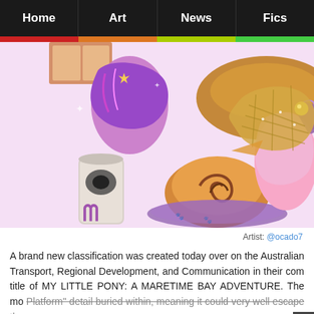Home | Art | News | Fics
[Figure (illustration): Colorful cartoon/anime-style illustration of My Little Pony characters with a soda can (Monster Energy style), a burger/donut, and various colorful elements. Pink, purple, and orange tones. Artist watermark 'Stony/' visible.]
Artist: @ocado7
A brand new classification was created today over on the Australian Transport, Regional Development, and Communication in their com title of MY LITTLE PONY: A MARETIME BAY ADVENTURE. The mo Platform" detail buried within, meaning it could very well escape tho has been stuck for the last decade.